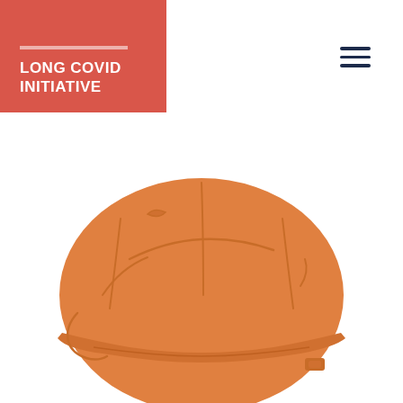LONG COVID INITIATIVE
[Figure (illustration): Orange construction hard hat illustration, viewed from a slightly elevated front-side angle, filling the lower center portion of the page on a white background.]